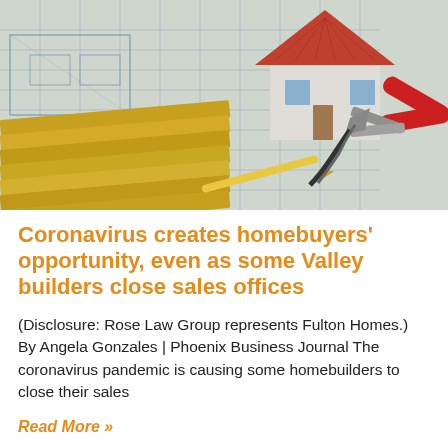[Figure (photo): A model house sitting on architectural blueprints/floor plans, with yellow pencils stacked on the left, a pencil in the center, and red-handled pliers on the right side. Construction/real estate themed photo.]
Coronavirus creates homebuyers' opportunity, even as some Valley builders close sales offices
(Disclosure: Rose Law Group represents Fulton Homes.) By Angela Gonzales | Phoenix Business Journal The coronavirus pandemic is causing some homebuilders to close their sales
Read More »